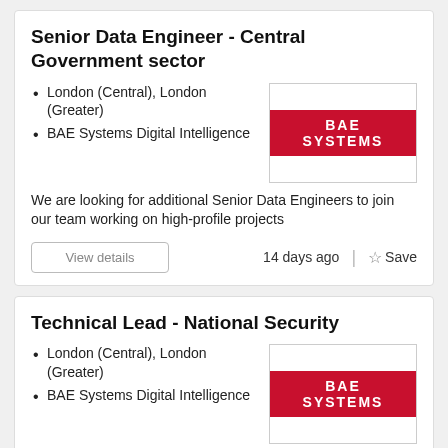Senior Data Engineer - Central Government sector
London (Central), London (Greater)
BAE Systems Digital Intelligence
[Figure (logo): BAE SYSTEMS logo — white text on red background inside a bordered box]
We are looking for additional Senior Data Engineers to join our team working on high-profile projects
View details
14 days ago
Save
Technical Lead - National Security
London (Central), London (Greater)
BAE Systems Digital Intelligence
[Figure (logo): BAE SYSTEMS logo — white text on red background inside a bordered box]